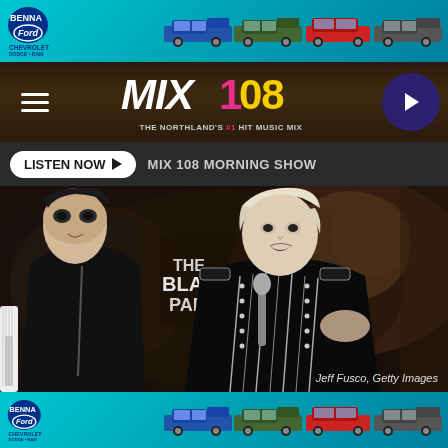[Figure (photo): Benna Ford advertisement banner at top with logo and multiple vehicles on teal/cyan background]
[Figure (logo): MIX 108 radio station header with logo text 'THE NORTHLAND'S #1 HIT MUSIC MIX', hamburger menu icon on left, play button on right]
LISTEN NOW ▶   MIX 108 MORNING SHOW
[Figure (photo): Concert performance photo of My Chemical Romance band members. Singer with bleached hair in black military jacket with silver buttons singing into microphone, guitarist in black leather jacket in background. 'THE BLACK PARADE' text visible on drum kit. Credit: Jeff Fusco, Getty Images]
Jeff Fusco, Getty Images
[Figure (photo): Benna Ford advertisement banner at bottom with logo and multiple vehicles on teal/cyan background]